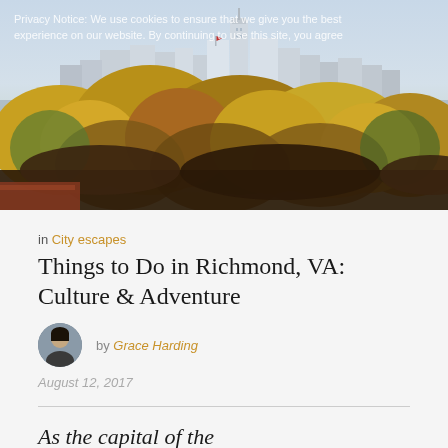[Figure (photo): Aerial/elevated view of Richmond, VA skyline with autumn foliage trees in the foreground and city buildings in the background]
Privacy Notice: We use cookies to ensure that we give you the best experience on our website. By continuing to use this site, you agree
in City escapes
Things to Do in Richmond, VA: Culture & Adventure
by Grace Harding
August 12, 2017
As the capital of the